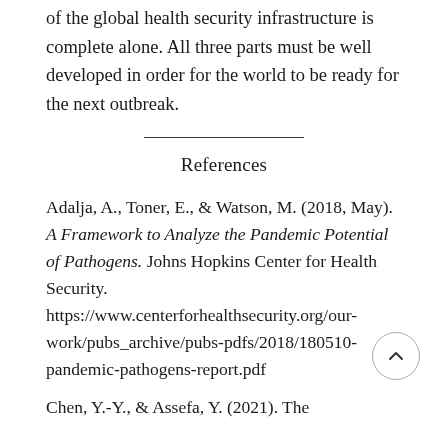of the global health security infrastructure is complete alone. All three parts must be well developed in order for the world to be ready for the next outbreak.
References
Adalja, A., Toner, E., & Watson, M. (2018, May). A Framework to Analyze the Pandemic Potential of Pathogens. Johns Hopkins Center for Health Security. https://www.centerforhealthsecurity.org/our-work/pubs_archive/pubs-pdfs/2018/180510-pandemic-pathogens-report.pdf
Chen, Y.-Y., & Assefa, Y. (2021). The